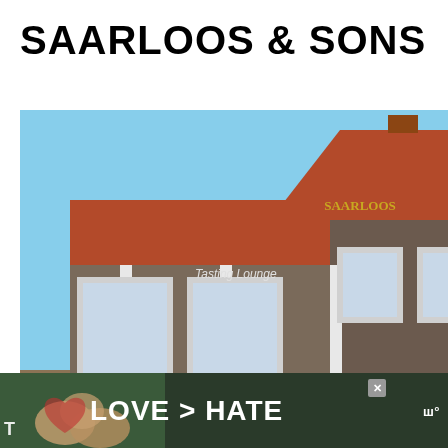SAARLOOS & SONS
[Figure (photo): Exterior photo of Saarloos & Sons winery tasting lounge and house with red roof, wrap-around porch, Adirondack chairs, and garden landscaping. UI overlays include a teal heart button with 193 count, a share button, and a 'What's Next' panel showing Orange Almond... with a thumbnail.]
[Figure (photo): Advertisement banner with dark green background showing hands making a heart shape, with text 'LOVE > HATE' in white bold letters, a close X button, and a logo on the right side. Letter 'T' visible on far left.]